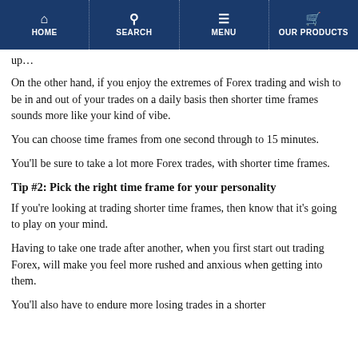HOME | SEARCH | MENU | OUR PRODUCTS
up…
On the other hand, if you enjoy the extremes of Forex trading and wish to be in and out of your trades on a daily basis then shorter time frames sounds more like your kind of vibe.
You can choose time frames from one second through to 15 minutes.
You'll be sure to take a lot more Forex trades, with shorter time frames.
Tip #2: Pick the right time frame for your personality
If you're looking at trading shorter time frames, then know that it's going to play on your mind.
Having to take one trade after another, when you first start out trading Forex, will make you feel more rushed and anxious when getting into them.
You'll also have to endure more losing trades in a shorter